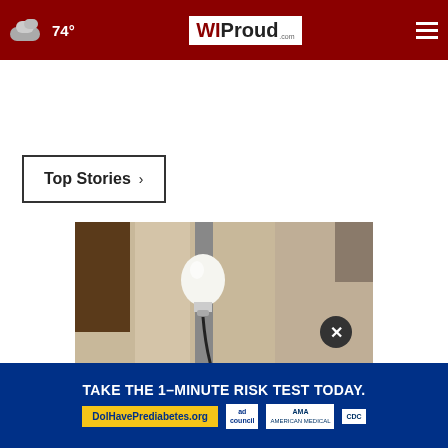74° WIProud.com
Top Stories ›
[Figure (photo): A light bulb mounted on a stone or textured wall surface, close-up photograph]
[Figure (infographic): Advertisement banner: TAKE THE 1-MINUTE RISK TEST TODAY. DolHavePrediabetes.org with ad council, AMA, and CDC logos]